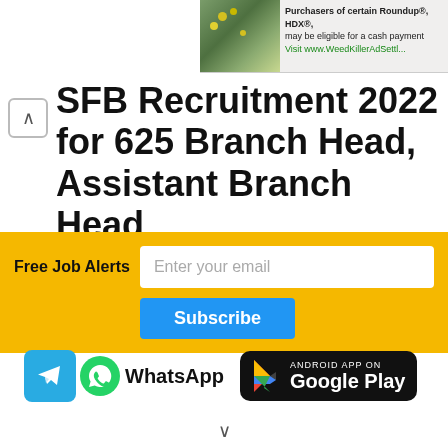[Figure (screenshot): Advertisement banner for Roundup/HDX settlement: image of yellow flowers on rocks with text 'Purchasers of certain Roundup®, HDX®, may be eligible for a cash payment' and 'Visit www.WeedKillerAdSettl...']
SFB Recruitment 2022 for 625 Branch Head, Assistant Branch Head
[Figure (screenshot): Email subscription widget with yellow background: label 'Free Job Alerts', email input placeholder 'Enter your email', and blue 'Subscribe' button]
[Figure (screenshot): Social/app links row: Telegram icon, WhatsApp icon with 'WhatsApp' text, and 'Get it on Google Play' black badge]